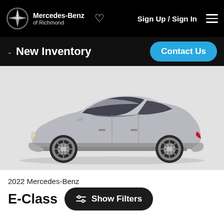Mercedes-Benz of Richmond — Sign Up / Sign In
New Inventory
[Figure (photo): Side profile photo of a 2022 Mercedes-Benz E-Class sedan in silver/grey on a light grey background]
2022 Mercedes-Benz
E-Class
Show Filters